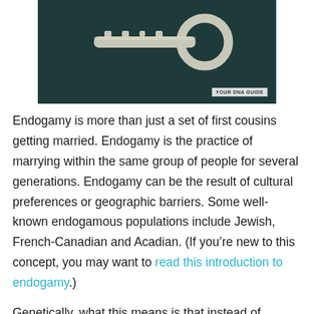[Figure (photo): A silver key on a dark teal background with a 'YOUR DNA GUIDE' watermark in the lower right corner.]
Endogamy is more than just a set of first cousins getting married. Endogamy is the practice of marrying within the same group of people for several generations. Endogamy can be the result of cultural preferences or geographic barriers. Some well-known endogamous populations include Jewish, French-Canadian and Acadian. (If you're new to this concept, you may want to read this introduction to endogamy.)
Genetically, what this means is that instead of